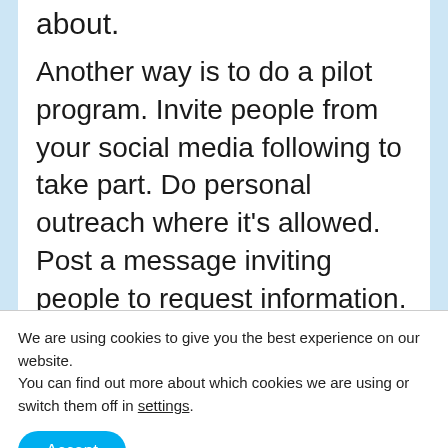about.
Another way is to do a pilot program. Invite people from your social media following to take part. Do personal outreach where it's allowed. Post a message inviting people to request information. Spend time building relationships with people on social media. This way, you
We are using cookies to give you the best experience on our website.
You can find out more about which cookies we are using or switch them off in settings.
Accept